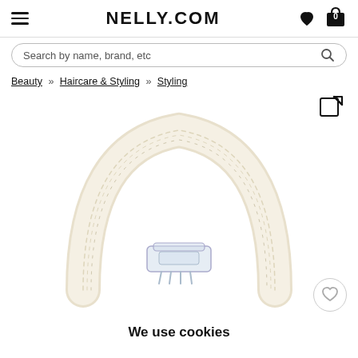NELLY.COM
Search by name, brand, etc
Beauty » Haircare & Styling » Styling
[Figure (photo): A cream/off-white fabric-wrapped hair headband arched in a U shape, with a small clear/transparent hair claw clip placed below it, on a white background.]
We use cookies